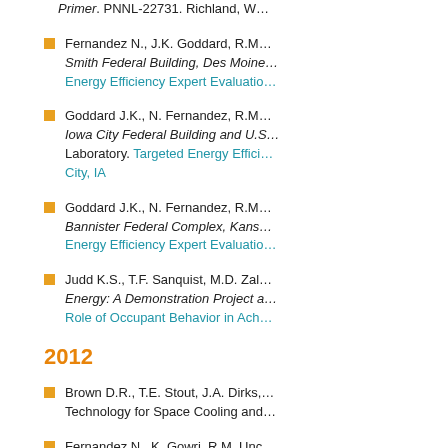Primer. PNNL-22731. Richland, W…
Fernandez N., J.K. Goddard, R.M… Smith Federal Building, Des Moin… Energy Efficiency Expert Evaluatio…
Goddard J.K., N. Fernandez, R.M… Iowa City Federal Building and U.S… Laboratory. Targeted Energy Effici… City, IA
Goddard J.K., N. Fernandez, R.M… Bannister Federal Complex, Kans… Energy Efficiency Expert Evaluatio…
Judd K.S., T.F. Sanquist, M.D. Zal… Energy: A Demonstration Project a… Role of Occupant Behavior in Ach…
2012
Brown D.R., T.E. Stout, J.A. Dirks,… Technology for Space Cooling and…
Fernandez N., K. Gowri, R.M. Unc… Region Facilities. PNNL-21444. R… Auditing of GSA Heartland Region…
Fernandez N., S. Katipamula, W. V…